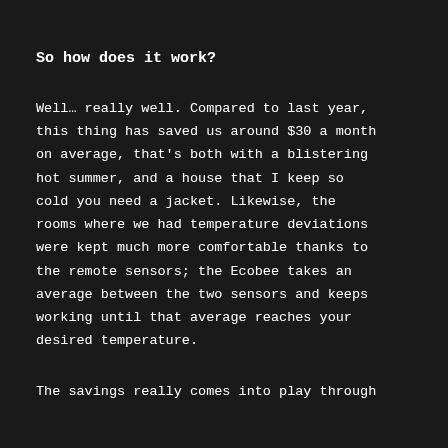So how does it work?
Well… really well. Compared to last year, this thing has saved us around $30 a month on average, that’s both with a blistering hot summer, and a house that I keep so cold you need a jacket. Likewise, the rooms where we had temperature deviations were kept much more comfortable thanks to the remote sensors; the Ecobee takes an average between the two sensors and keeps working until that average reaches your desired temperature.
The savings really comes into play through